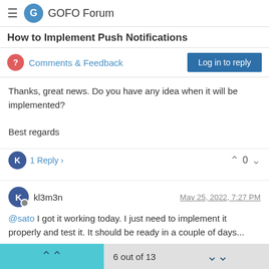GOFO Forum
How to Implement Push Notifications
Comments & Feedback
Thanks, great news. Do you have any idea when it will be implemented?

Best regards
1 Reply
kl3m3n  May 25, 2022, 7:27 PM
@sato I got it working today. I just need to implement it properly and test it. It should be ready in a couple of days...

BR,
kl3m3n
1 Reply
6 out of 13